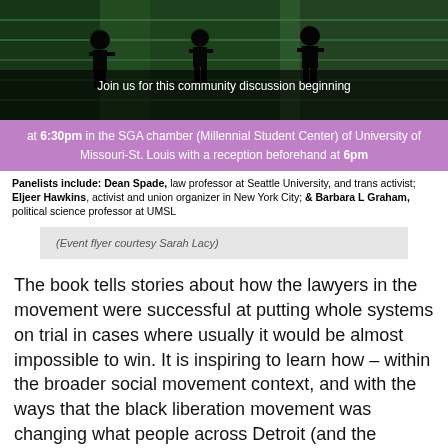[Figure (photo): Black and white high-contrast photo showing silhouettes of people walking on steps or bleachers, with green tinted lighting effect]
Join us for this community discussion beginning at 6:30pm in the SGA chamber (Millennial Student Center) of University of Missouri-St. Louis with a reception beforehand at 6pm
Panelists include: Dean Spade, law professor at Seattle University, and trans activist; Eljeer Hawkins, activist and union organizer in New York City; & Barbara L Graham, political science professor at UMSL
(Event flyer courtesy Sarah Lacy)
The book tells stories about how the lawyers in the movement were successful at putting whole systems on trial in cases where usually it would be almost impossible to win. It is inspiring to learn how – within the broader social movement context, and with the ways that the black liberation movement was changing what people across Detroit (and the world!) thought about their lives and what was possible – radical things could happen even in courtrooms.